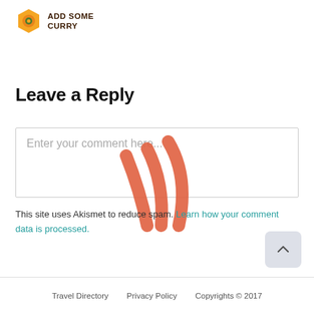ADD SOME CURRY
Leave a Reply
[Figure (other): Comment text input box with placeholder text 'Enter your comment here...' and a large orange wifi/signal icon overlaid on top]
This site uses Akismet to reduce spam. Learn how your comment data is processed.
Travel Directory   Privacy Policy   Copyrights © 2017